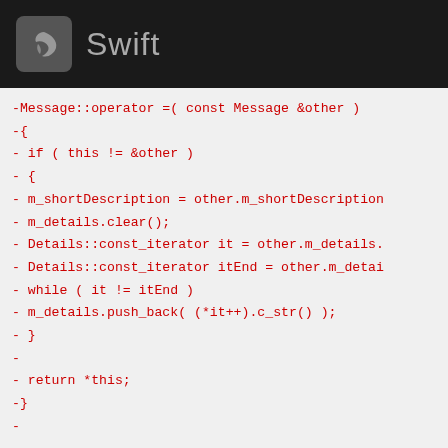Swift
[Figure (screenshot): Swift logo icon - bird silhouette on dark rounded square background]
-Message::operator =( const Message &other )
-{
-    if ( this != &other )
-    {
-        m_shortDescription = other.m_shortDescription
-        m_details.clear();
-        Details::const_iterator it = other.m_details.
-        Details::const_iterator itEnd = other.m_detai
-        while ( it != itEnd )
-            m_details.push_back( (*it++).c_str() );
-    }
-
-    return *this;
-}
-
-
-const std::string &
-Message::shortDescription() const
-{